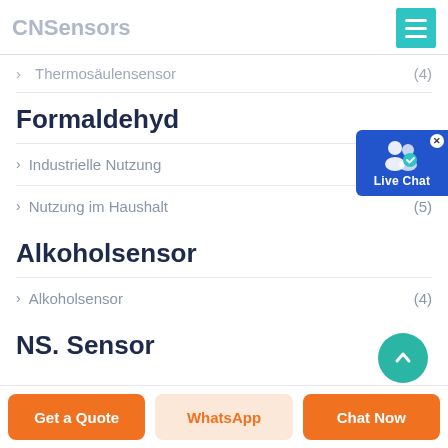CNSensors
> Thermosäulensensor (4)
Formaldehyd
> Industrielle Nutzung (1)
> Nutzung im Haushalt (5)
Alkoholsensor
> Alkoholsensor (4)
NS. Sensor
[Figure (other): Live Chat bubble widget with user icon]
[Figure (other): Scroll-up teal circular button]
Get a Quote | WhatsApp | Chat Now